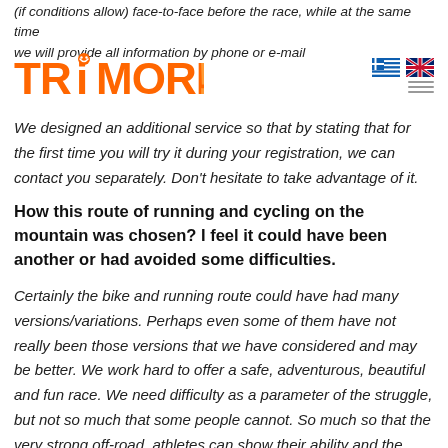(if conditions allow) face-to-face before the race, while at the same time we will provide all information by phone or e-mail
[Figure (logo): TRIMORE logo in orange with a smiley face dot over the i]
[Figure (illustration): Greek and UK flag icons; hamburger menu icon]
We designed an additional service so that by stating that for the first time you will try it during your registration, we can contact you separately. Don't hesitate to take advantage of it.
How this route of running and cycling on the mountain was chosen? I feel it could have been another or had avoided some difficulties.
Certainly the bike and running route could have had many versions/variations. Perhaps even some of them have not really been those versions that we have considered and may be better. We work hard to offer a safe, adventurous, beautiful and fun race. We need difficulty as a parameter of the struggle, but not so much that some people cannot. So much so that the very strong off-road  athletes can show their ability and the beginners not to be in danger. The two laps both on the bike and in the running of the long distance are imposed by the needs of safe management of the race and its development in